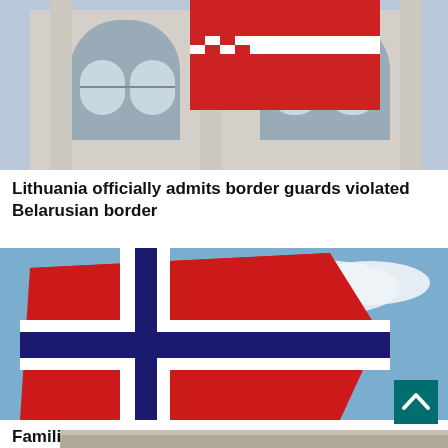[Figure (photo): Cropped photo showing a building facade with arched windows and a red/white flag (Belarusian flag) visible in foreground]
Lithuania officially admits border guards violated Belarusian border
[Figure (photo): Photo of a Norwegian flag flying against a blue sky with clouds]
Families of Lithuanians killed in 2016 landslide in Norway going to court for compensation
[Figure (photo): Partial photo at the bottom of the page, cropped, showing a stone or concrete surface]